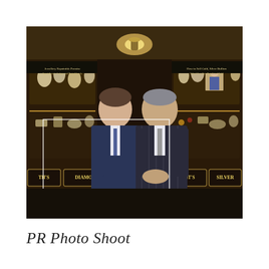[Figure (photo): Two men in suits standing in front of a jewellery shop display. The shop front shows illuminated display cases with jewellery, and signs reading 'Diamond', 'Silver', 'Merchants', 'Jewellery Repairable Premise', and 'Specialises in Antique and Period Jewels'. A white rectangular border overlays the lower portion of the image.]
PR Photo Shoot